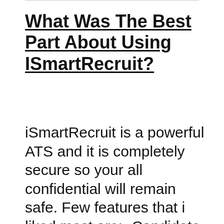What Was The Best Part About Using ISmartRecruit?
iSmartRecruit is a powerful ATS and it is completely secure so your all confidential will remain safe. Few features that i liked most are:- Candidate management,